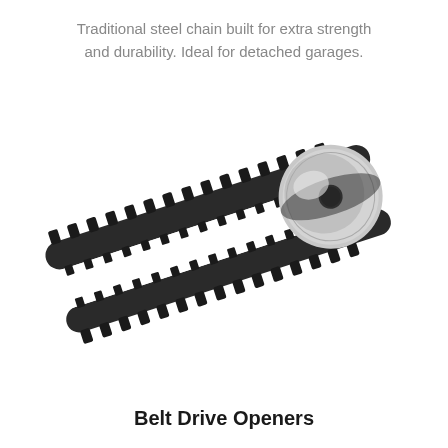Traditional steel chain built for extra strength and durability. Ideal for detached garages.
[Figure (photo): A toothed black rubber/polymer belt drive component with a silver metal sprocket/pulley wheel attached, shown at an angle on a white background. The belt has evenly spaced teeth on both edges.]
Belt Drive Openers